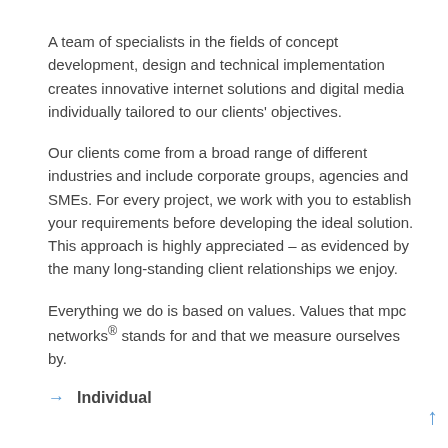A team of specialists in the fields of concept development, design and technical implementation creates innovative internet solutions and digital media individually tailored to our clients' objectives.
Our clients come from a broad range of different industries and include corporate groups, agencies and SMEs. For every project, we work with you to establish your requirements before developing the ideal solution. This approach is highly appreciated – as evidenced by the many long-standing client relationships we enjoy.
Everything we do is based on values. Values that mpc networks® stands for and that we measure ourselves by.
→ Individual